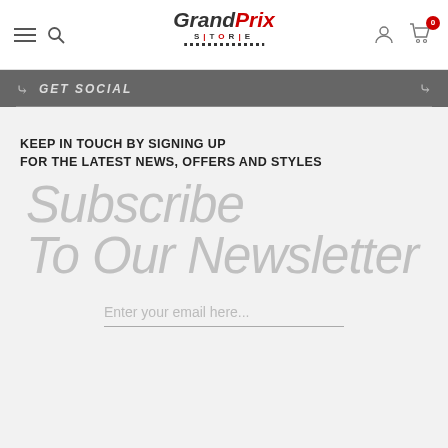Grand Prix Store — navigation header with hamburger menu, search, logo, user account, and cart (0 items)
GET SOCIAL
KEEP IN TOUCH BY SIGNING UP FOR THE LATEST NEWS, OFFERS AND STYLES
Subscribe To Our Newsletter
Enter your email here...